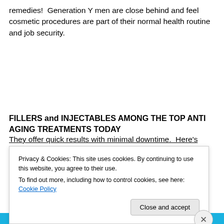remedies!  Generation Y men are close behind and feel cosmetic procedures are part of their normal health routine and job security.
FILLERS and INJECTABLES AMONG THE TOP ANTI AGING TREATMENTS TODAY
They offer quick results with minimal downtime.  Here's how to use them.
Privacy & Cookies: This site uses cookies. By continuing to use this website, you agree to their use.
To find out more, including how to control cookies, see here: Cookie Policy